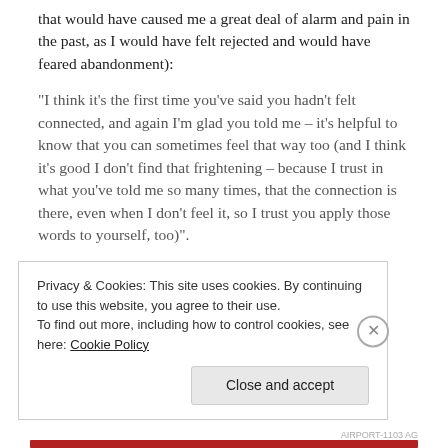that would have caused me a great deal of alarm and pain in the past, as I would have felt rejected and would have feared abandonment):
“I think it’s the first time you’ve said you hadn’t felt connected, and again I’m glad you told me – it’s helpful to know that you can sometimes feel that way too (and I think it’s good I don’t find that frightening – because I trust in what you’ve told me so many times, that the connection is there, even when I don’t feel it, so I trust you apply those words to yourself, too)”.
Post-Thursday
Privacy & Cookies: This site uses cookies. By continuing to use this website, you agree to their use.
To find out more, including how to control cookies, see here: Cookie Policy